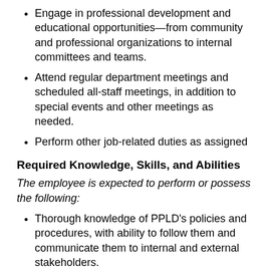Engage in professional development and educational opportunities—from community and professional organizations to internal committees and teams.
Attend regular department meetings and scheduled all-staff meetings, in addition to special events and other meetings as needed.
Perform other job-related duties as assigned
Required Knowledge, Skills, and Abilities
The employee is expected to perform or possess the following:
Thorough knowledge of PPLD's policies and procedures, with ability to follow them and communicate them to internal and external stakeholders.
Ability to act as ambassador of PPLD by promoting its mission and vision.